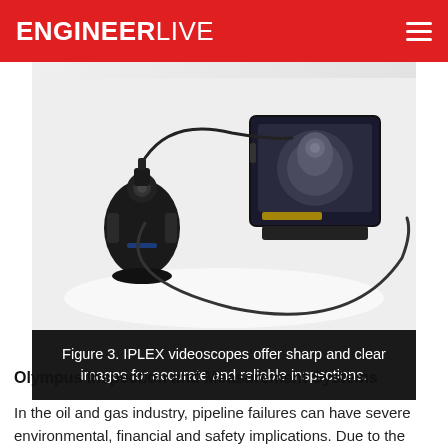ENGINEERLIVE
[Figure (photo): IPLEX videoscope inspection equipment: a handheld probe/camera unit connected by a cable to a portable display monitor showing an internal inspection image.]
Figure 3. IPLEX videoscopes offer sharp and clear images for accurate and reliable inspections.
Olympus Inspection and Measurement Systems
In the oil and gas industry, pipeline failures can have severe environmental, financial and safety implications. Due to the large surface areas that need to be assessed for effective